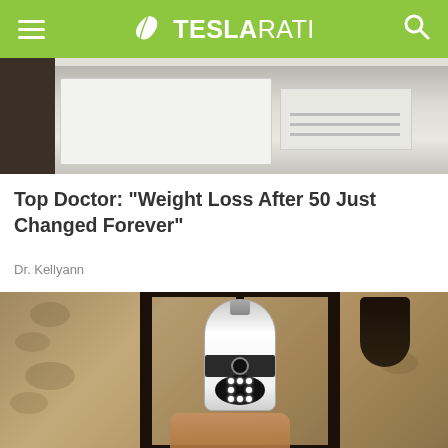TESLARATI
[Figure (photo): Partial view of a white product/appliance in a shelving unit - top advertisement image strip]
Top Doctor: "Weight Loss After 50 Just Changed Forever"
Dr. Kellyann
[Figure (photo): A smart security camera light bulb installed in a black outdoor lantern fixture mounted on a stone wall. A hand is holding the white bulb/camera device which has LED lights visible at the bottom.]